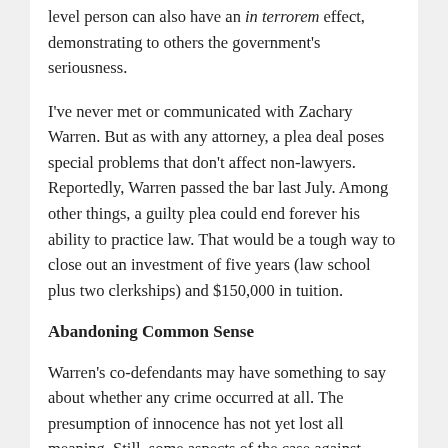level person can also have an in terrorem effect, demonstrating to others the government's seriousness.
I've never met or communicated with Zachary Warren. But as with any attorney, a plea deal poses special problems that don't affect non-lawyers. Reportedly, Warren passed the bar last July. Among other things, a guilty plea could end forever his ability to practice law. That would be a tough way to close out an investment of five years (law school plus two clerkships) and $150,000 in tuition.
Abandoning Common Sense
Warren's co-defendants may have something to say about whether any crime occurred at all. The presumption of innocence has not yet lost all meaning. Still, some aspects of the case against Zachary Warren, seem particularly peculiar.
“Pestering partners at year-end to get clients to pay outstanding bills” is not exactly a policy-making position. How can anyone who worked in the bureaucratic